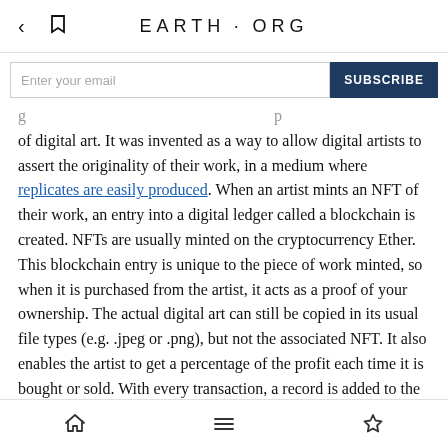EARTH·ORG
Enter your email    SUBSCRIBE
of digital art. It was invented as a way to allow digital artists to assert the originality of their work, in a medium where replicates are easily produced. When an artist mints an NFT of their work, an entry into a digital ledger called a blockchain is created. NFTs are usually minted on the cryptocurrency Ether. This blockchain entry is unique to the piece of work minted, so when it is purchased from the artist, it acts as a proof of your ownership. The actual digital art can still be copied in its usual file types (e.g. .jpeg or .png), but not the associated NFT. It also enables the artist to get a percentage of the profit each time it is bought or sold. With every transaction, a record is added to the blockchain. When you sell an NFT, you are paid in Ethereum
Home | Menu | Bookmark